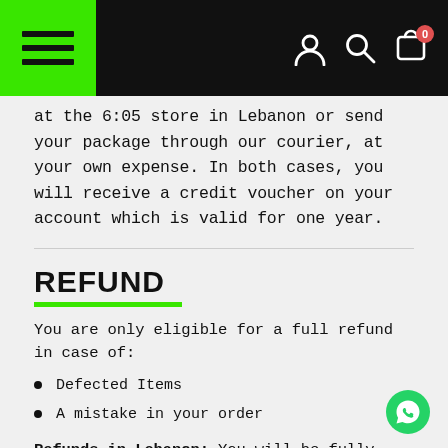Navigation bar with hamburger menu, user icon, search icon, and cart icon (0 items)
at the 6:05 store in Lebanon or send your package through our courier, at your own expense. In both cases, you will receive a credit voucher on your account which is valid for one year.
REFUND
You are only eligible for a full refund in case of:
Defected Items
A mistake in your order
Refunds in Lebanon: You will be fully refunded, in cash, at the 6:05 store or on the credit card used in the initial